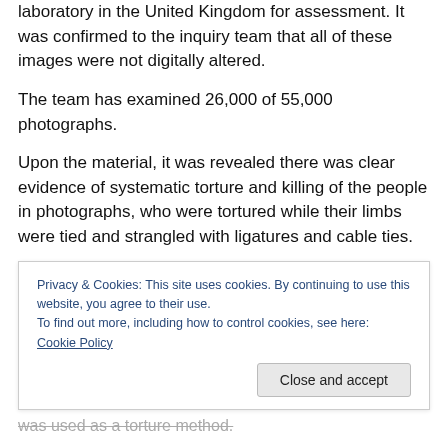laboratory in the United Kingdom for assessment. It was confirmed to the inquiry team that all of these images were not digitally altered.
The team has examined 26,000 of 55,000 photographs.
Upon the material, it was revealed there was clear evidence of systematic torture and killing of the people in photographs, who were tortured while their limbs were tied and strangled with ligatures and cable ties.
Another attracting point of the inquiry is that emaciation was used as a torture method.
Privacy & Cookies: This site uses cookies. By continuing to use this website, you agree to their use. To find out more, including how to control cookies, see here: Cookie Policy
Close and accept